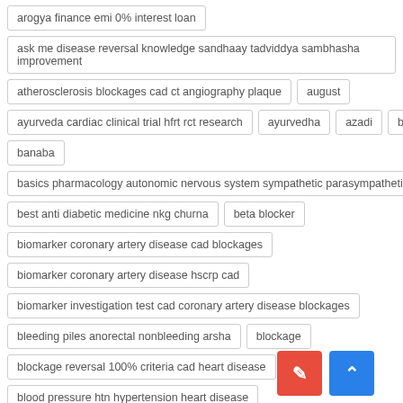arogya finance emi 0% interest loan
ask me disease reversal knowledge sandhaay tadviddya sambhasha improvement
atherosclerosis blockages cad ct angiography plaque
august
ayurveda cardiac clinical trial hfrt rct research
ayurvedha
azadi
bah
banaba
basics pharmacology autonomic nervous system sympathetic parasympathetic
best anti diabetic medicine nkg churna
beta blocker
biomarker coronary artery disease cad blockages
biomarker coronary artery disease hscrp cad
biomarker investigation test cad coronary artery disease blockages
bleeding piles anorectal nonbleeding arsha
blockage
blockage reversal 100% criteria cad heart disease
blood pressure htn hypertension heart disease
blood pressure htn sprint trial systolic diastolic
brand
c-pep
calura effectiveness burning micturition calculi
campaign